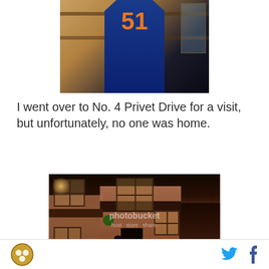[Figure (photo): Person wearing a blue and orange sports jersey, partial upper body shot against an indoor background]
I went over to No. 4 Privet Drive for a visit, but unfortunately, no one was home.
[Figure (photo): Nighttime photo of a brick house (No. 4 Privet Drive from Harry Potter) with a person standing at the front door. Photobucket watermark visible.]